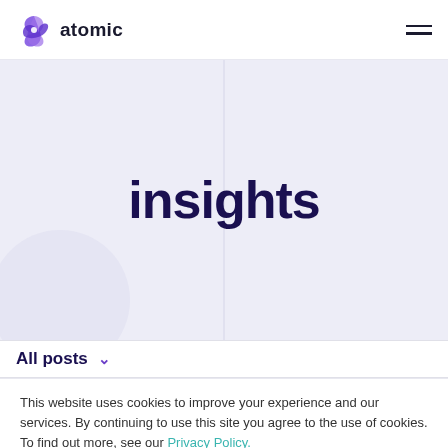atomic
[Figure (logo): Atomic logo with purple triangular icon and text 'atomic']
insights
All posts
This website uses cookies to improve your experience and our services. By continuing to use this site you agree to the use of cookies. To find out more, see our Privacy Policy.